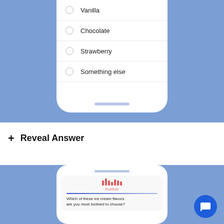[Figure (screenshot): Phone mockup showing a multiple-choice survey with radio buttons for Vanilla, Chocolate, Strawberry, Something else]
Vanilla
Chocolate
Strawberry
Something else
+ Reveal Answer
[Figure (screenshot): Phone mockup showing Pollfish survey interface with question: Which of these ice cream flavors are you most inclined to choose?]